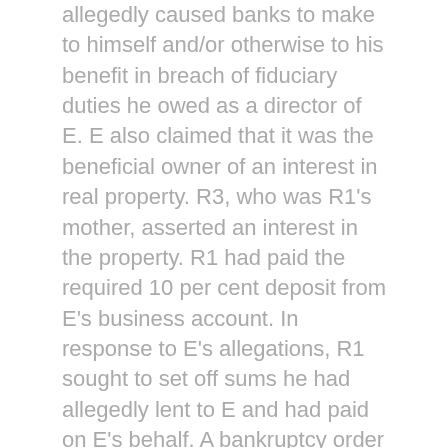allegedly caused banks to make to himself and/or otherwise to his benefit in breach of fiduciary duties he owed as a director of E. E also claimed that it was the beneficial owner of an interest in real property. R3, who was R1's mother, asserted an interest in the property. R1 had paid the required 10 per cent deposit from E's business account. In response to E's allegations, R1 sought to set off sums he had allegedly lent to E and had paid on E's behalf. A bankruptcy order was subsequently made against R1, and it was agreed that he should take no further part in the instant proceedings. Similarly, the second respondent, R1's trustee in bankruptcy, had entered into a settlement agreement with E. R3 had put in a defence that was superseded by a draft amended defence, but failed to serve the defence on E. E sought to set aside the draft